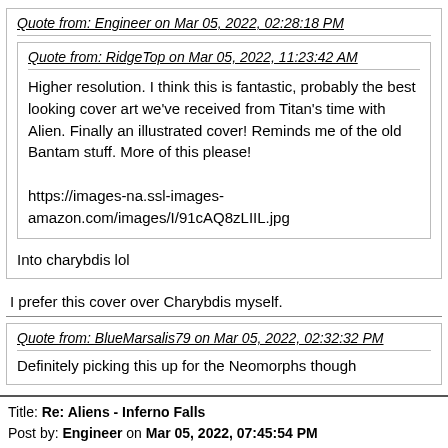Quote from: Engineer on Mar 05, 2022, 02:28:18 PM
Quote from: RidgeTop on Mar 05, 2022, 11:23:42 AM
Higher resolution. I think this is fantastic, probably the best looking cover art we've received from Titan's time with Alien. Finally an illustrated cover! Reminds me of the old Bantam stuff. More of this please!

https://images-na.ssl-images-amazon.com/images/I/91cAQ8zLIIL.jpg
Into charybdis lol
I prefer this cover over Charybdis myself.
Quote from: BlueMarsalis79 on Mar 05, 2022, 02:32:32 PM
Definitely picking this up for the Neomorphs though
Yeah, I'm definitely intrigued by that too!
Title: Re: Aliens - Inferno Falls
Post by: Engineer on Mar 05, 2022, 07:45:54 PM